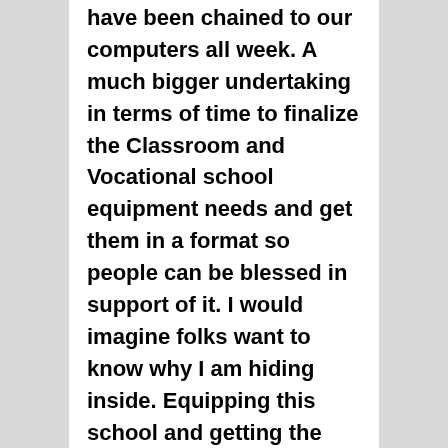have been chained to our computers all week. A much bigger undertaking in terms of time to finalize the Classroom and Vocational school equipment needs and get them in a format so people can be blessed in support of it. I would imagine folks want to know why I am hiding inside. Equipping this school and getting the teachers is a really “God sized’ task. We all need to pray and have faith in His power!!! Madel has two classes today (English) . It is the day of the first test. I (Dan) am so proud of